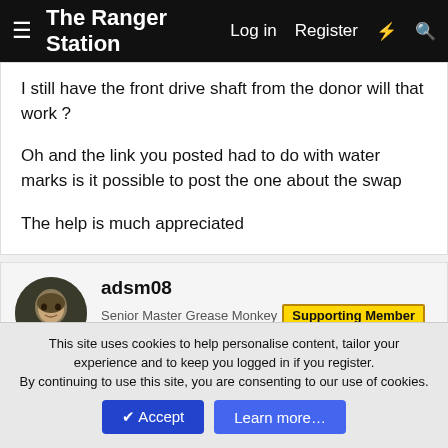The Ranger Station  Log in  Register
I still have the front drive shaft from the donor will that work ?
Oh and the link you posted had to do with water marks is it possible to post the one about the swap
The help is much appreciated
adsm08
Senior Master Grease Monkey  Supporting Member
Article Contributor  Ford Technician  TRS 20th Anniversary
Jul 29, 2013  #4
Whoops, this is the link I meant to paste in.
This site uses cookies to help personalise content, tailor your experience and to keep you logged in if you register.
By continuing to use this site, you are consenting to our use of cookies.